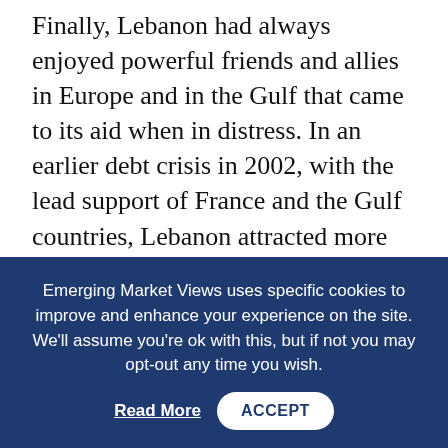Finally, Lebanon had always enjoyed powerful friends and allies in Europe and in the Gulf that came to its aid when in distress. In an earlier debt crisis in 2002, with the lead support of France and the Gulf countries, Lebanon attracted more than $4.1 billion (equivalent to nearly 20 percent of GDP then) in external aid which, together with an extraordinarily ambitious reform program, helped turn the economy around and spurred a resurgence of confidence and growth
However, in the past decade or so, all three pillars
Emerging Market Views uses specific cookies to improve and enhance your experience on the site. We'll assume you're ok with this, but if not you may opt-out any time you wish. Read More ACCEPT